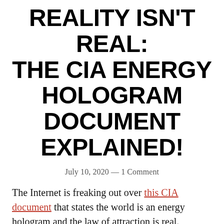REALITY ISN'T REAL: THE CIA ENERGY HOLOGRAM DOCUMENT EXPLAINED!
July 10, 2020 — 1 Comment
The Internet is freaking out over this CIA document that states the world is an energy hologram and the law of attraction is real. Actually, that's only the beginning; it goes on to use quantum mechanics and physics to explain the nature and function of human consciousness. Science and spirituality